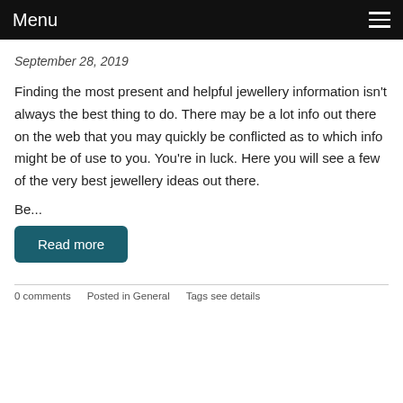Menu
September 28, 2019
Finding the most present and helpful jewellery information isn't always the best thing to do. There may be a lot info out there on the web that you may quickly be conflicted as to which info might be of use to you. You're in luck. Here you will see a few of the very best jewellery ideas out there.
Be...
Read more
0 comments    Posted in General    Tags see details